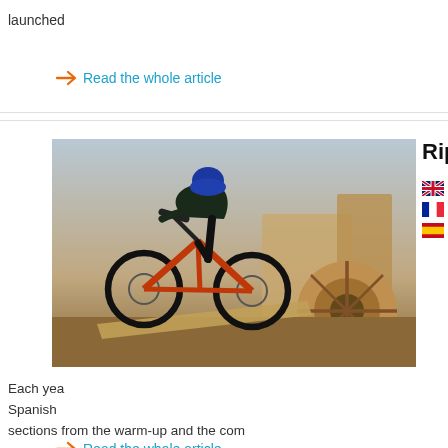launched
Read the whole article
Ripoll
[Figure (photo): Mountain bike rider navigating a dirt trail with large wooden spool obstacle in background]
Tribal
Ripoll
Ripoll
Each year Spanish sections from the warm-up and the com
Read the whole article
Benito
[Figure (photo): Mountain bike rider performing a jump or trick, airborne against sky, with cars visible below]
Tribal
Benito
Benito
Here's a Ros testi Championship in Lorca.
Read the whole article